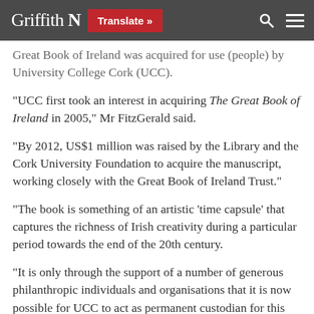Griffith N  Translate »
Great Book of Ireland was acquired for use (people) by University College Cork (UCC).
“UCC first took an interest in acquiring The Great Book of Ireland in 2005,” Mr FitzGerald said.
“By 2012, US$1 million was raised by the Library and the Cork University Foundation to acquire the manuscript, working closely with the Great Book of Ireland Trust.”
“The book is something of an artistic ‘time capsule’ that captures the richness of Irish creativity during a particular period towards the end of the 20th century.
“It is only through the support of a number of generous philanthropic individuals and organisations that it is now possible for UCC to act as permanent custodian for this major work of art.”